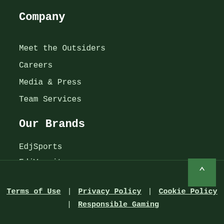Company
Meet the Outsiders
Careers
Media & Press
Team Services
Our Brands
EdjSports
EdjVarsity
Terms of Use | Privacy Policy | Cookie Policy | Responsible Gaming